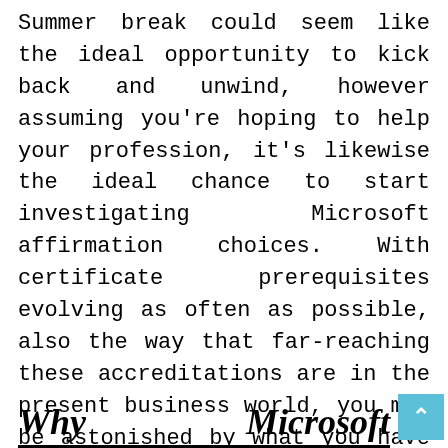Summer break could seem like the ideal opportunity to kick back and unwind, however assuming you're hoping to help your profession, it's likewise the ideal chance to start investigating Microsoft affirmation choices. With certificate prerequisites evolving as often as possible, also the way that far-reaching these accreditations are in the present business world, you may be astonished by what you have close to zero insight into them and their essential necessities. Here is a brief glance at the absolute most significant things you want to be aware of Microsoft confirmation programs this late spring.
Why        Microsoft